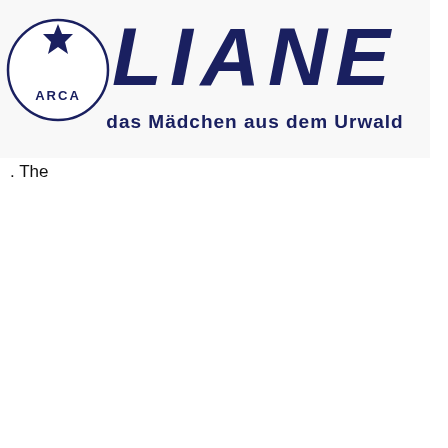[Figure (logo): Banner image showing the ARCA logo (circular emblem with a crown/star and text 'ARCA') on the left, and the title 'LIANE' in large italic bold letters, with subtitle 'das Mädchen aus dem Urwald' below in smaller bold text, on a white/light background.]
. The